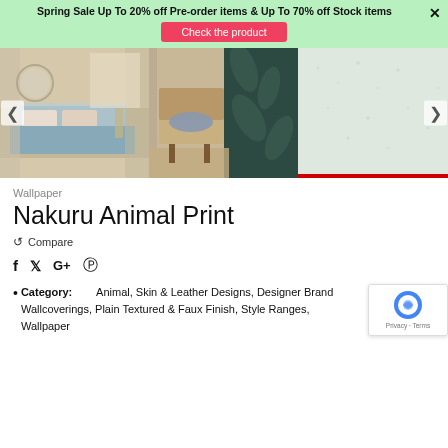Spring Sale Up To 20% off Pre-order items & Up To 70% off Stock items
Check the product
[Figure (photo): Three gallery images: bedroom with blue bedspread and floral curtains, armchair with tropical leaf curtain, plain textured light gray wallpaper swatch]
Wallpaper
Nakuru Animal Print
Compare
Social share icons: Facebook, Twitter, Google+, Pinterest
Category: Animal, Skin & Leather Designs, Designer Brand Wallcoverings, Plain Textured & Faux Finish, Style Ranges, Wallpaper